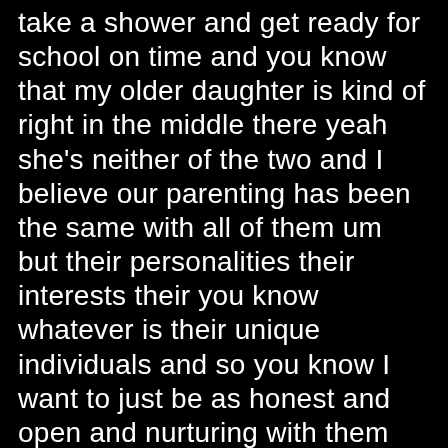take a shower and get ready for school on time and you know that my older daughter is kind of right in the middle there yeah she's neither of the two and I believe our parenting has been the same with all of them um but their personalities their interests their you know whatever is their unique individuals and so you know I want to just be as honest and open and nurturing with them about life in the world and the different things I mean we talked about with our kids with drugs like I imagine at some point they all tell me they never have which is amazing to me but we talk about drugs or drinking